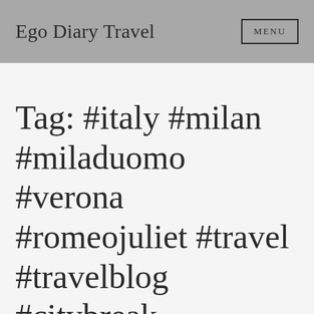Ego Diary Travel  MENU
Tag: #italy #milan #miladuomo #verona #romeojuliet #travel #travelblog #citybreak #travelwithparents